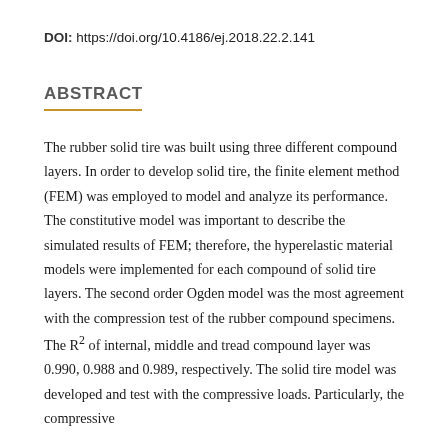DOI: https://doi.org/10.4186/ej.2018.22.2.141
ABSTRACT
The rubber solid tire was built using three different compound layers. In order to develop solid tire, the finite element method (FEM) was employed to model and analyze its performance. The constitutive model was important to describe the simulated results of FEM; therefore, the hyperelastic material models were implemented for each compound of solid tire layers. The second order Ogden model was the most agreement with the compression test of the rubber compound specimens. The R² of internal, middle and tread compound layer was 0.990, 0.988 and 0.989, respectively. The solid tire model was developed and test with the compressive loads. Particularly, the compressive